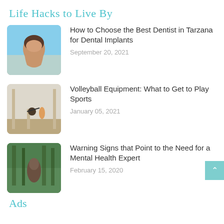Life Hacks to Live By
How to Choose the Best Dentist in Tarzana for Dental Implants
September 20, 2021
Volleyball Equipment: What to Get to Play Sports
January 05, 2021
Warning Signs that Point to the Need for a Mental Health Expert
February 15, 2020
Ads